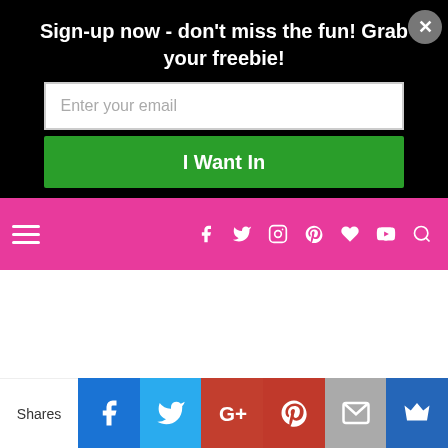Sign-up now - don't miss the fun! Grab your freebie!
[Figure (screenshot): Email signup form with white input field labeled 'Enter your email' and a green 'I Want In' button, on black background with close X button]
[Figure (screenshot): Pink navigation bar with hamburger menu on left and social media icons (Facebook, Twitter, Instagram, Pinterest, Heart, YouTube, Search) on right]
Sharing is caring!
[Figure (screenshot): Social share buttons row: Facebook, Twitter, Pinterest, LinkedIn, and one more, all in green rounded square buttons]
[Figure (screenshot): Bottom share bar with Shares label and buttons: Facebook (blue), Twitter (light blue), Google+ (red), Pinterest (red), Mail (gray), Crown (blue)]